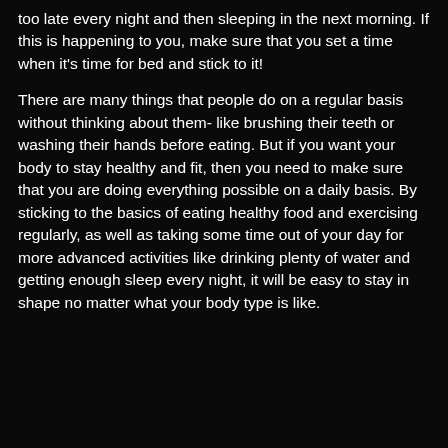too late every night and then sleeping in the next morning. If this is happening to you, make sure that you set a time when it's time for bed and stick to it!
There are many things that people do on a regular basis without thinking about them- like brushing their teeth or washing their hands before eating. But if you want your body to stay healthy and fit, then you need to make sure that you are doing everything possible on a daily basis. By sticking to the basics of eating healthy food and exercising regularly, as well as taking some time out of your day for more advanced activities like drinking plenty of water and getting enough sleep every night, it will be easy to stay in shape no matter what your body type is like.